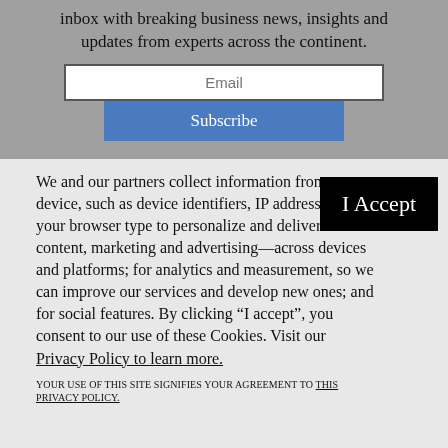inbox with breaking business news, insights and updates from experts across the continent.
[Figure (screenshot): Email input field with placeholder text 'Email' and a blue Subscribe button below it]
We and our partners collect information from your device, such as device identifiers, IP address, and your browser type to personalize and deliver content, marketing and advertising—across devices and platforms; for analytics and measurement, so we can improve our services and develop new ones; and for social features. By clicking “I accept”, you consent to our use of these Cookies. Visit our Privacy Policy to learn more.
YOUR USE OF THIS SITE SIGNIFIES YOUR AGREEMENT TO THIS PRIVACY POLICY.